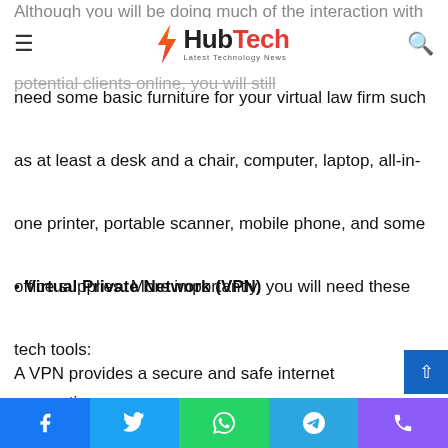Although you will be doing much of the interaction with your potential clients online, you will still
HubTech — Latest Technology News (nav bar with hamburger menu and search icon)
need some basic furniture for your virtual law firm such as at least a desk and a chair, computer, laptop, all-in-one printer, portable scanner, mobile phone, and some office supplies. More importantly, you will need these tech tools:
• Virtual Private Network (VPN)
A VPN provides a secure and safe internet connectio…
Social share bar: Facebook, Twitter, WhatsApp, Telegram, Phone